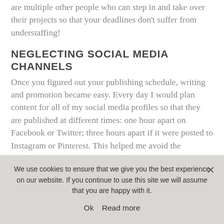are multiple other people who can step in and take over their projects so that your deadlines don't suffer from understaffing!
NEGLECTING SOCIAL MEDIA CHANNELS
Once you figured out your publishing schedule, writing and promotion became easy. Every day I would plan content for all of my social media profiles so that they are published at different times: one hour apart on Facebook or Twitter; three hours apart if it were posted to Instagram or Pinterest. This helped me avoid the
We use cookies to ensure that we give you the best experience on our website. If you continue to use this site we will assume that you are happy with it.
Ok   Read more